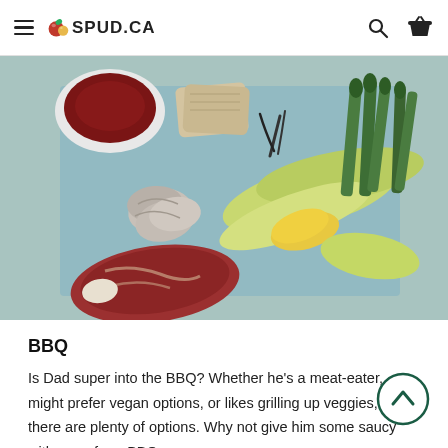SPUD.CA
[Figure (photo): Overhead flatlay of BBQ ingredients on blue paper: oysters, raw steak, corn on the cob with husks, asparagus, a bowl of sauce, and crackers]
BBQ
Is Dad super into the BBQ? Whether he's a meat-eater, might prefer vegan options, or likes grilling up veggies, there are plenty of options. Why not give him some saucy with one of our BBQ sauces.